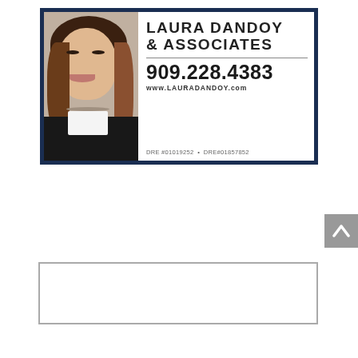[Figure (advertisement): Real estate advertisement for Laura Dandoy & Associates showing a professional headshot of a woman on the left and business information on the right including phone number 909.228.4383, website www.LAURADANDOY.com, and DRE license numbers #01019252 and #01857852, all within a dark navy blue border.]
[Figure (other): Small grey scroll-to-top button with an upward-pointing white chevron arrow on the right side of the page.]
[Figure (other): Empty white box with grey border at the bottom of the page.]